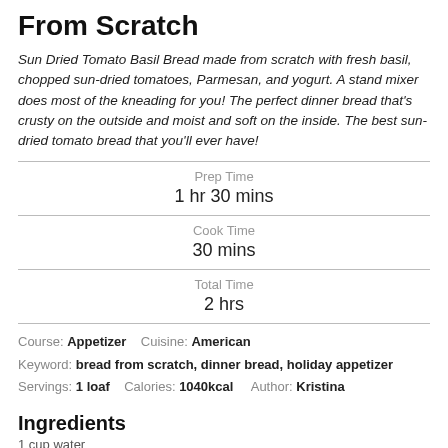From Scratch
Sun Dried Tomato Basil Bread made from scratch with fresh basil, chopped sun-dried tomatoes, Parmesan, and yogurt. A stand mixer does most of the kneading for you! The perfect dinner bread that's crusty on the outside and moist and soft on the inside. The best sun-dried tomato bread that you'll ever have!
Prep Time: 1 hr 30 mins
Cook Time: 30 mins
Total Time: 2 hrs
Course: Appetizer   Cuisine: American
Keyword: bread from scratch, dinner bread, holiday appetizer
Servings: 1 loaf   Calories: 1040kcal   Author: Kristina
Ingredients
1 cup water